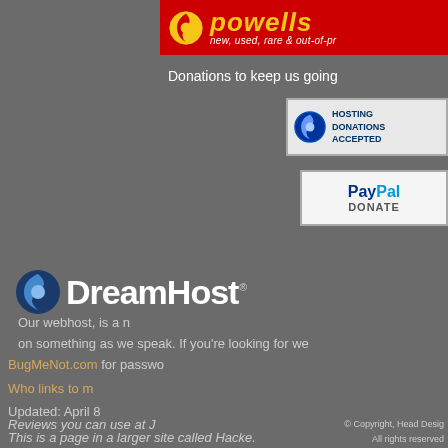[Figure (logo): Powells bookstore banner - red background with circular logo icon and 'powells' brand name in yellow italic, subtitle 'new, used, rare & out-of-pr...']
Donations to keep us going
[Figure (logo): Hosting donations accepted badge with blue circular icon]
[Figure (logo): PayPal Donate button badge]
[Figure (logo): DreamHost logo - blue crescent moon icon with DreamHost text]
Our webhost, [DreamHost logo] is a m... on something as we speak. If you're looking for we...
BugMeNot.com for passwo...
Who links to m...
Updated: April 8
Reviews you can use at J
This is a page in a larger site called Hacke.
© Copyright, Head Desig...
All rights reserved...